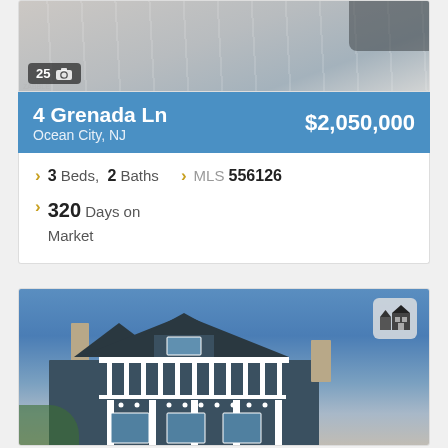[Figure (photo): Top portion of a property photo showing a deck/roof area, with a badge showing 25 photos]
4 Grenada Ln  $2,050,000
Ocean City, NJ
3 Beds, 2 Baths   MLS 556126
320 Days on Market
[Figure (photo): Exterior photo of a large coastal Victorian/craftsman style house with white columns, dark siding, dormer windows, and a balcony, with blue sky background and a house icon overlay]